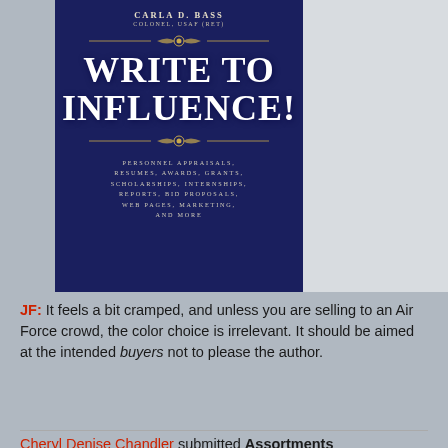[Figure (illustration): Book cover of 'Write to Influence!' by Carla D. Bass, Colonel, USAF (Ret). Dark navy blue background with gold ornamental dividers. Large white bold serif title text 'WRITE TO INFLUENCE!' with subtitle listing: Personnel Appraisals, Resumes, Awards, Grants, Scholarships, Internships, Reports, Bid Proposals, Web Pages, Marketing, and More.]
JF: It feels a bit cramped, and unless you are selling to an Air Force crowd, the color choice is irrelevant. It should be aimed at the intended buyers not to please the author.
Cheryl Denise Chandler submitted Assortments